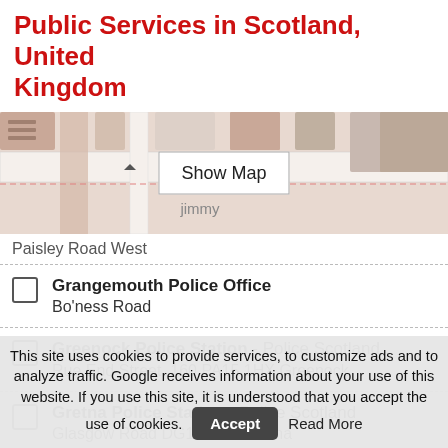Public Services in Scotland, United Kingdom
[Figure (map): Partial street map showing Paisley Road West area with a 'Show Map' button overlay]
Paisley Road West
Grangemouth Police Office
Bo'ness Road
Greenock Police Station - Police Scotland
Rue End Street, 160 PA15 1HX Greenock
Gretna Police Station - Police Scotland
Glasgow Road DG16 5DS Gretna
Hamilton Police
Campbell Lane
Hawick Police Station
Phone: +44 1450 375051
This site uses cookies to provide services, to customize ads and to analyze traffic. Google receives information about your use of this website. If you use this site, it is understood that you accept the use of cookies. Accept Read More